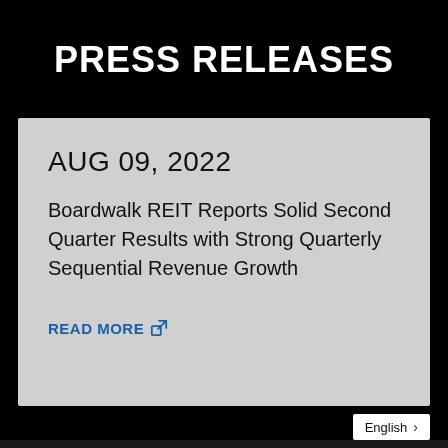PRESS RELEASES
AUG 09, 2022
Boardwalk REIT Reports Solid Second Quarter Results with Strong Quarterly Sequential Revenue Growth
READ MORE
English